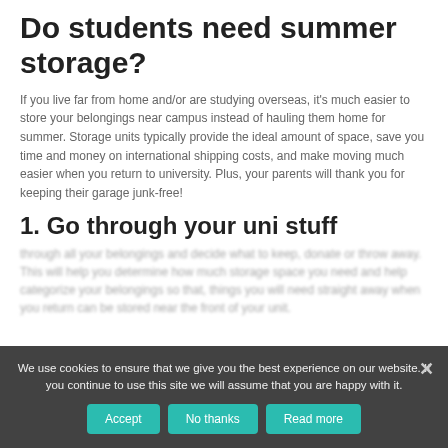Do students need summer storage?
If you live far from home and/or are studying overseas, it's much easier to store your belongings near campus instead of hauling them home for summer. Storage units typically provide the ideal amount of space, save you time and money on international shipping costs, and make moving much easier when you return to university. Plus, your parents will thank you for keeping their garage junk-free!
1. Go through your uni stuff
[blurred/obscured text below cookie banner]
We use cookies to ensure that we give you the best experience on our website. If you continue to use this site we will assume that you are happy with it.